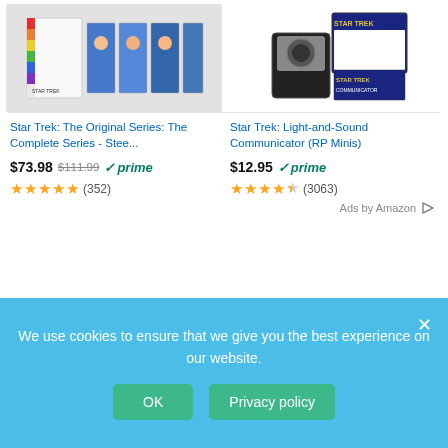[Figure (photo): Star Trek: The Original Series Complete Series Steelbook DVD/Blu-ray box set product photo on grey background]
[Figure (photo): Star Trek Light-and-Sound Communicator (RP Minis) product photo on white background]
Star Trek: The Original Series: The Complete Series - Stee...
Star Trek: Light-and-Sound Communicator (RP Minis)
$73.98  $111.99  ✓prime
$12.95  ✓prime
★★★★★ (352)
★★★★½ (3063)
Ads by Amazon ▷
[Figure (logo): rep your brand advertisement banner with blue bold text on light grey background]
We use cookies to ensure that we give you the best experience on our website.
OK    Privacy policy